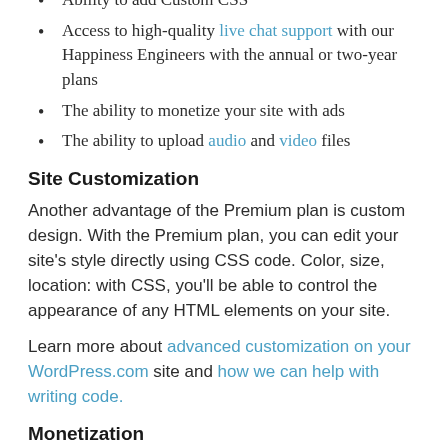Ability to add Custom CSS
Access to high-quality live chat support with our Happiness Engineers with the annual or two-year plans
The ability to monetize your site with ads
The ability to upload audio and video files
Site Customization
Another advantage of the Premium plan is custom design. With the Premium plan, you can edit your site's style directly using CSS code. Color, size, location: with CSS, you'll be able to control the appearance of any HTML elements on your site.
Learn more about advanced customization on your WordPress.com site and how we can help with writing code.
Monetization
Did you know your site can help you earn money?